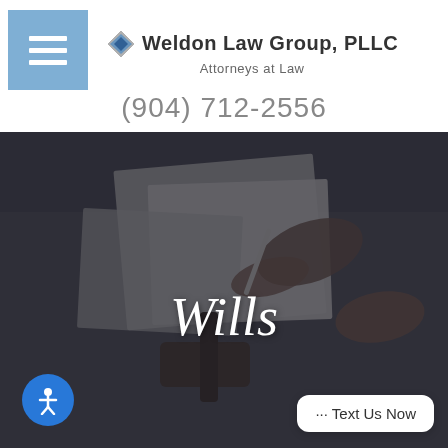[Figure (logo): Weldon Law Group PLLC logo with diamond icon, firm name, and tagline 'Attorneys at Law']
(904) 712-2556
[Figure (photo): Dark background photo of a judge's gavel and hands signing legal documents on a desk, with the word 'Wills' overlaid in italic white serif text]
··· Text Us Now